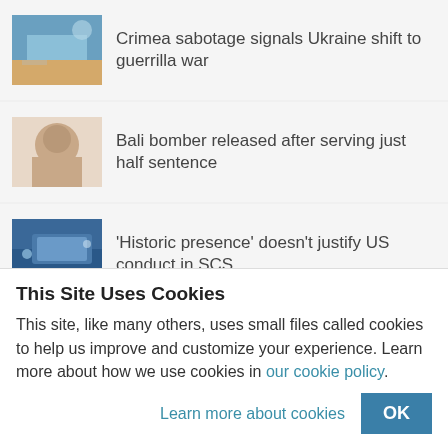Crimea sabotage signals Ukraine shift to guerrilla war
Bali bomber released after serving just half sentence
'Historic presence' doesn't justify US conduct in SCS
US-Taiwan trade deal talks defy China's warning
EDA software ban latest blow to China's chip makers
This Site Uses Cookies
This site, like many others, uses small files called cookies to help us improve and customize your experience. Learn more about how we use cookies in our cookie policy.
Learn more about cookies   OK